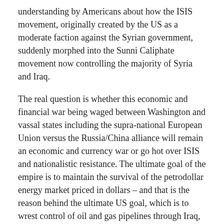understanding by Americans about how the ISIS movement, originally created by the US as a moderate faction against the Syrian government, suddenly morphed into the Sunni Caliphate movement now controlling the majority of Syria and Iraq.
The real question is whether this economic and financial war being waged between Washington and vassal states including the supra-national European Union versus the Russia/China alliance will remain an economic and currency war or go hot over ISIS and nationalistic resistance. The ultimate goal of the empire is to maintain the survival of the petrodollar energy market priced in dollars – and that is the reason behind the ultimate US goal, which is to wrest control of oil and gas pipelines through Iraq, Syria and the Ukraine from opposition regimes.
As an American, I'm writing here about a coverup of an ongoing war between Washington, London and the EU versus Russia and China. The EU, historically a vassal state controlled by Washington, is now being pushed into a military conflict over the...